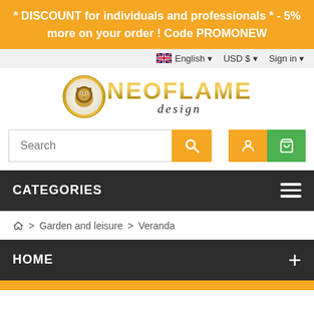* DISCOUNT for individuals and professionals * - 5% more on your order ! Code PROMONEW
English  USD $  Sign in
[Figure (logo): Neoflame Design logo with a golden lion emblem and stylized text 'NEOFLAME design']
Search
CATEGORIES
🏠 > Garden and leisure > Veranda
HOME